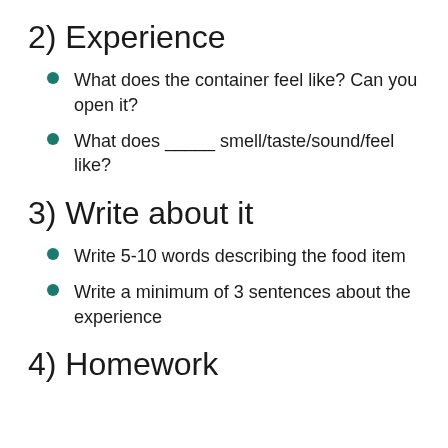2) Experience
What does the container feel like? Can you open it?
What does _____ smell/taste/sound/feel like?
3) Write about it
Write 5-10 words describing the food item
Write a minimum of 3 sentences about the experience
4) Homework